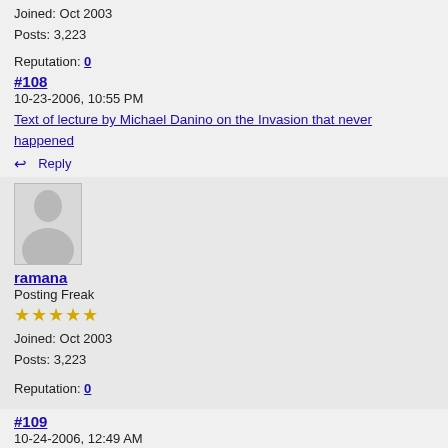Joined: Oct 2003
Posts: 3,223
Reputation: 0
#108
10-23-2006, 10:55 PM
Text of lecture by Michael Danino on the Invasion that never happened
Reply
[Figure (illustration): Default user avatar silhouette]
ramana
Posting Freak
★★★★★
Joined: Oct 2003
Posts: 3,223
Reputation: 0
#109
10-24-2006, 12:49 AM
Can this be spotted on Google Earth?
from Pioneer, 10/24/2006